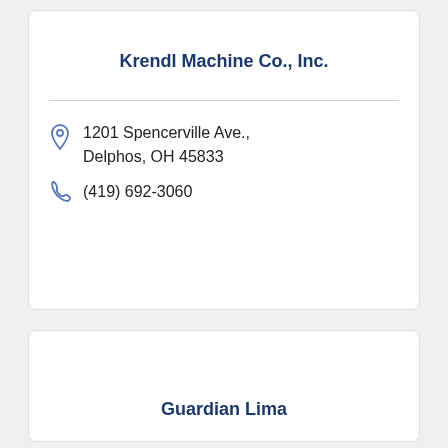Krendl Machine Co., Inc.
1201 Spencerville Ave., Delphos, OH 45833
(419) 692-3060
Guardian Lima